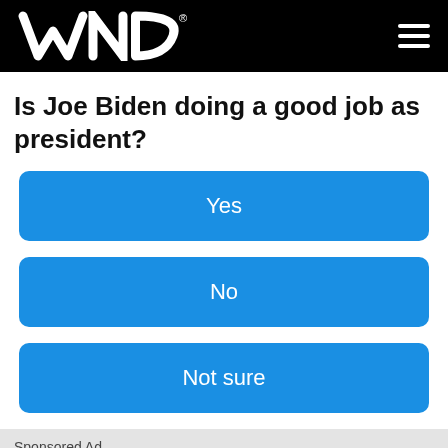WND
Is Joe Biden doing a good job as president?
Yes
No
Not sure
Sponsored Ad
Advertisement
17 Mind-Blowing Makeovers By Makeup Artist Vanessa Davis